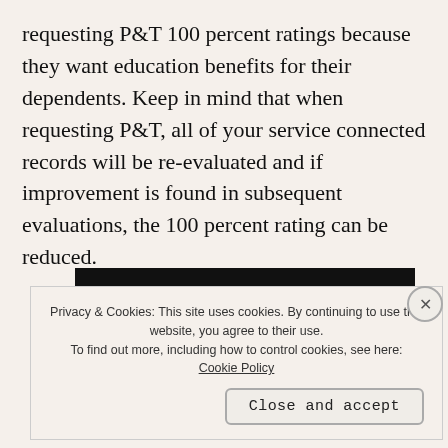requesting P&T 100 percent ratings because they want education benefits for their dependents. Keep in mind that when requesting P&T, all of your service connected records will be re-evaluated and if improvement is found in subsequent evaluations, the 100 percent rating can be reduced.
[Figure (screenshot): Dark banner with bold white text reading 'more work.' and a partially visible outlined button below it.]
Privacy & Cookies: This site uses cookies. By continuing to use this website, you agree to their use.
To find out more, including how to control cookies, see here:
Cookie Policy
Close and accept